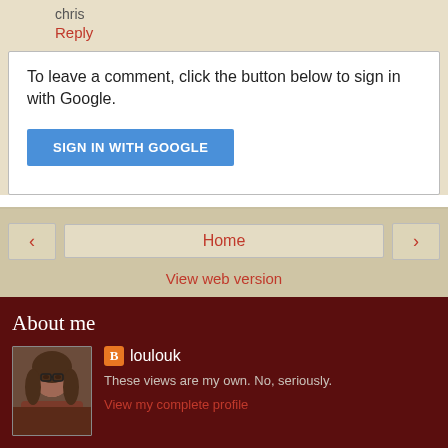chris
Reply
To leave a comment, click the button below to sign in with Google.
SIGN IN WITH GOOGLE
‹
Home
›
View web version
About me
loulouk
These views are my own. No, seriously.
View my complete profile
Powered by Blogger.